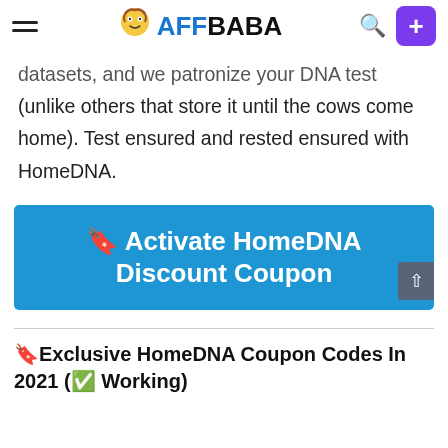AFFBABA
datasets, and we patronize your DNA test (unlike others that store it until the cows come home). Test ensured and rested ensured with HomeDNA.
[Figure (other): Blue CTA button with text: 🔖 Activate HomeDNA Discount Coupon]
🔖Exclusive HomeDNA Coupon Codes In 2021 (✅ Working)